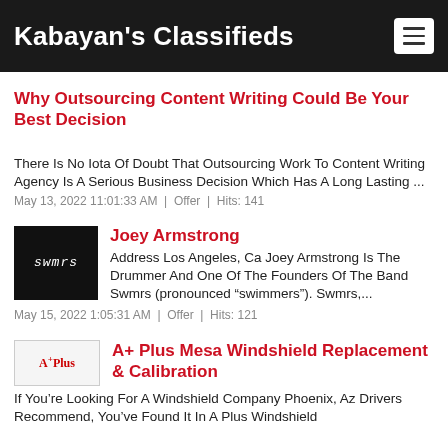Kabayan's Classifieds
Why Outsourcing Content Writing Could Be Your Best Decision
There Is No Iota Of Doubt That Outsourcing Work To Content Writing Agency Is A Serious Business Decision Which Has A Long Lasting ...
May 13, 2022 11:01:33 AM  |  Offer  |  Hits: 141
[Figure (logo): SWMRS band logo on black background]
Joey Armstrong
Address Los Angeles, Ca Joey Armstrong Is The Drummer And One Of The Founders Of The Band Swmrs (pronounced “swimmers”). Swmrs,...
May 15, 2022 1:05:31 AM  |  Offer  |  Hits: 121
[Figure (logo): A Plus logo with red text on light background]
A+ Plus Mesa Windshield Replacement & Calibration
If You’re Looking For A Windshield Company Phoenix, Az Drivers Recommend, You’ve Found It In A Plus Windshield